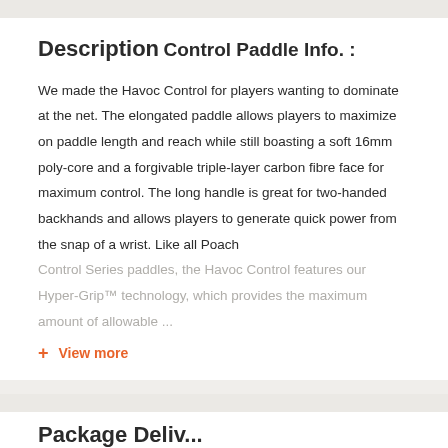Description
Control Paddle Info. :
We made the Havoc Control for players wanting to dominate at the net. The elongated paddle allows players to maximize on paddle length and reach while still boasting a soft 16mm poly-core and a forgivable triple-layer carbon fibre face for maximum control. The long handle is great for two-handed backhands and allows players to generate quick power from the snap of a wrist. Like all Poach Control Series paddles, the Havoc Control features our Hyper-Grip™ technology, which provides the maximum amount of allowable ...
+ View more
Package Deliv...